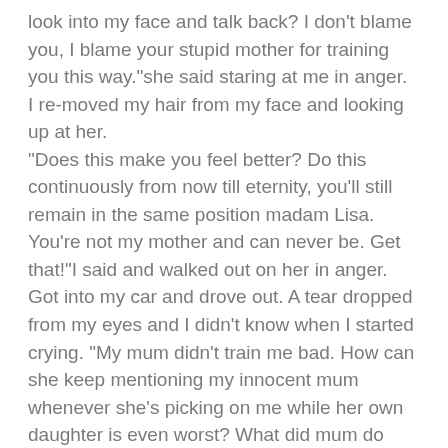look into my face and talk back? I don't blame you, I blame your stupid mother for training you this way."she said staring at me in anger.
I re-moved my hair from my face and looking up at her.
"Does this make you feel better? Do this continuously from now till eternity, you'll still remain in the same position madam Lisa. You're not my mother and can never be. Get that!"I said and walked out on her in anger.
Got into my car and drove out. A tear dropped from my eyes and I didn't know when I started crying. "My mum didn't train me bad. How can she keep mentioning my innocent mum whenever she's picking on me while her own daughter is even worst? What did mum do wrong.? I know if she was alive, I won't receive all this bad treatments. Why did she have to leave me so soon."I thought to myself crying as I drive.
:
I got home and went to my ap@rtment. I took some water